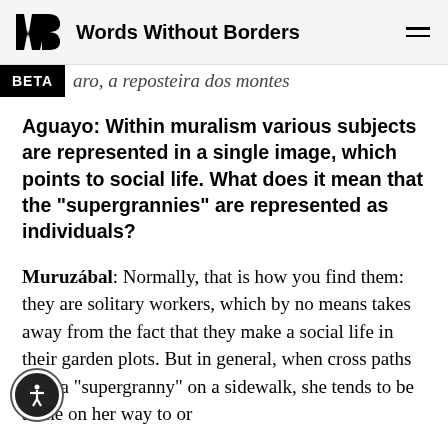Words Without Borders
aro, a reposteira dos montes
Aguayo: Within muralism various subjects are represented in a single image, which points to social life. What does it mean that the “supergrannies” are represented as individuals?
Muruzábal: Normally, that is how you find them: they are solitary workers, which by no means takes away from the fact that they make a social life in their garden plots. But in general, when cross paths with a “supergranny” on a sidewalk, she tends to be alone on her way to or